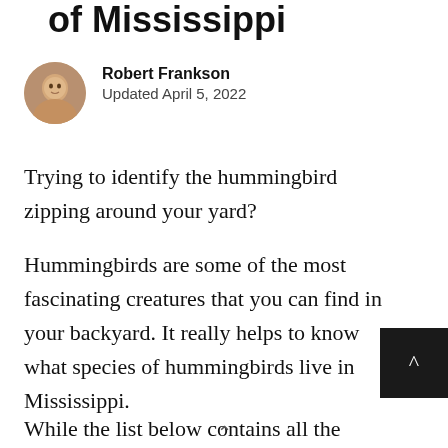of Mississippi
[Figure (photo): Circular avatar photo of author Robert Frankson]
Robert Frankson
Updated April 5, 2022
Trying to identify the hummingbird zipping around your yard?
Hummingbirds are some of the most fascinating creatures that you can find in your backyard. It really helps to know what species of hummingbirds live in Mississippi.
While the list below contains all the usual